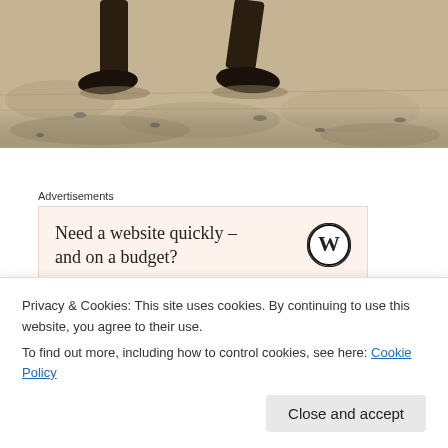[Figure (photo): Black and white photo showing the lower legs and feet of a runner on a dirt/gravel surface, cropped at the knees.]
Advertisements
[Figure (other): Advertisement box with beige background showing WordPress logo and text: Need a website quickly – and on a budget?]
In Issue Four of The Orris, we are getting competitive.  As we enter a  season of physical,  political,  and financial
Privacy & Cookies: This site uses cookies. By continuing to use this website, you agree to their use.
To find out more, including how to control cookies, see here: Cookie Policy
Close and accept
political debates of the upcoming American election, using